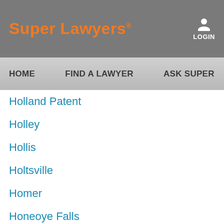Super Lawyers LOGIN
HOME  FIND A LAWYER  ASK SUPER L…
Holland Patent
Holley
Hollis
Holtsville
Homer
Honeoye Falls
Hoosick
Hoosick Falls